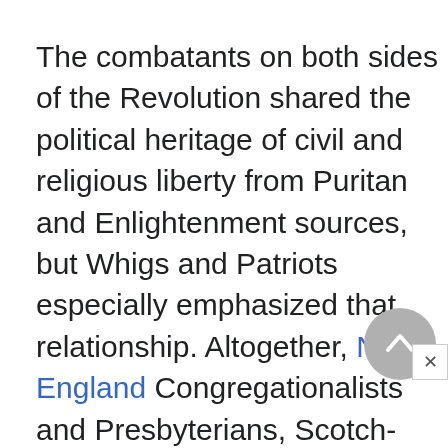The combatants on both sides of the Revolution shared the political heritage of civil and religious liberty from Puritan and Enlightenment sources, but Whigs and Patriots especially emphasized that relationship. Altogether, New England Congregationalists and Presbyterians, Scotch-Irish Presbyterians, many Baptists, and many low church Anglicans in the South—all in one way or another heirs of the Puritans or